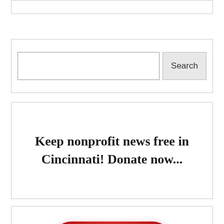[Figure (screenshot): Top border strip element, partial UI component]
[Figure (screenshot): Search box with text input field and Search button]
Keep nonprofit news free in Cincinnati! Donate now...
[Figure (screenshot): Red rounded DONATE button]
[Figure (screenshot): Bottom strip/border element, partial UI component]